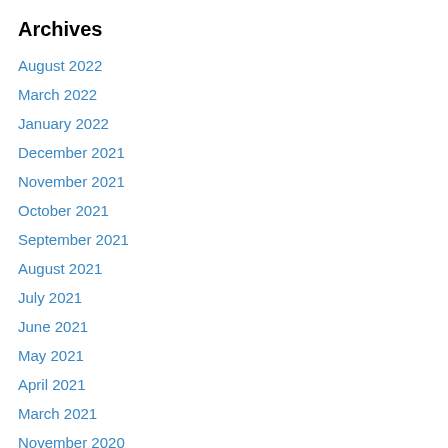Archives
August 2022
March 2022
January 2022
December 2021
November 2021
October 2021
September 2021
August 2021
July 2021
June 2021
May 2021
April 2021
March 2021
November 2020
October 2020
September 2020
August 2020
July 2020